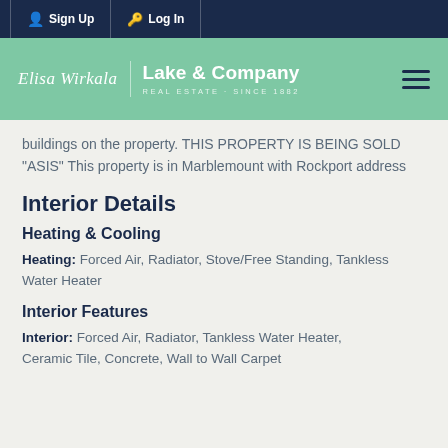Sign Up  Log In
[Figure (logo): Elisa Wirkala / Lake & Company Real Estate Since 1882 logo with hamburger menu icon on teal background]
buildings on the property. THIS PROPERTY IS BEING SOLD "ASIS" This property is in Marblemount with Rockport address
Interior Details
Heating & Cooling
Heating: Forced Air, Radiator, Stove/Free Standing, Tankless Water Heater
Interior Features
Interior: Forced Air, Radiator, Tankless Water Heater, Ceramic Tile, Concrete, Wall to Wall Carpet